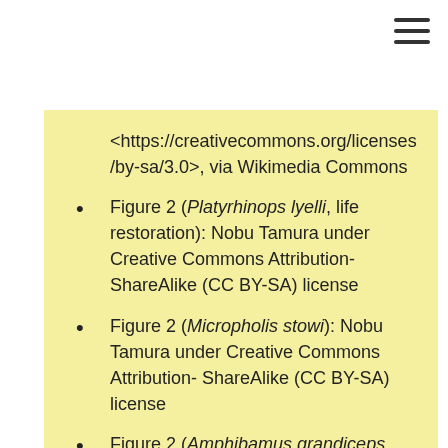<https://creativecommons.org/licenses/by-sa/3.0>, via Wikimedia Commons
Figure 2 (Platyrhinops lyelli, life restoration): Nobu Tamura under Creative Commons Attribution-ShareAlike (CC BY-SA) license
Figure 2 (Micropholis stowi): Nobu Tamura under Creative Commons Attribution- ShareAlike (CC BY-SA) license
Figure 2 (Amphibamus grandiceps, fossil): University College London, under the Creative Commons